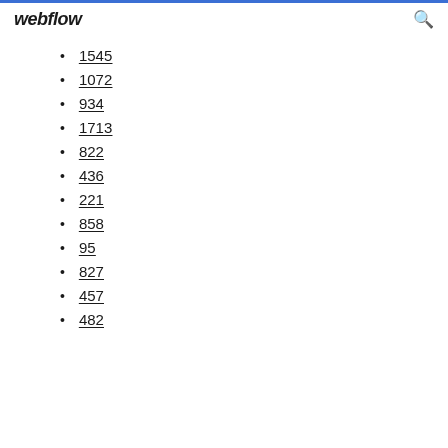webflow
1545
1072
934
1713
822
436
221
858
95
827
457
482